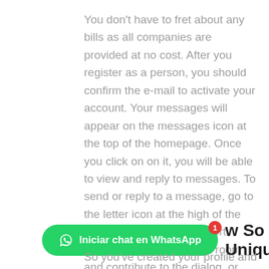You don't have to fret about any bills as all companies are provided at no cost. After you register as a person, you should confirm the e-mail to activate your account. Your messages will appear on the messages icon at the top of the homepage. Once you click on on it, you will be able to view and reply to messages. To send or reply to a message, go to the letter icon at the high of the page, click on on it, and sort away. You can join a chat room and contribute to the dialog, or you possibly can chat privately with the girl or guy you want.
[Figure (other): Green WhatsApp button labeled 'Iniciar chat en WhatsApp' with WhatsApp icon and a red badge showing '1']
So you've created your profile and are